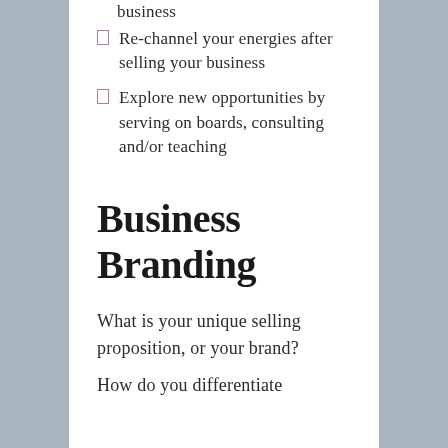business
Re-channel your energies after selling your business
Explore new opportunities by serving on boards, consulting and/or teaching
Business Branding
What is your unique selling proposition, or your brand?
How do you differentiate